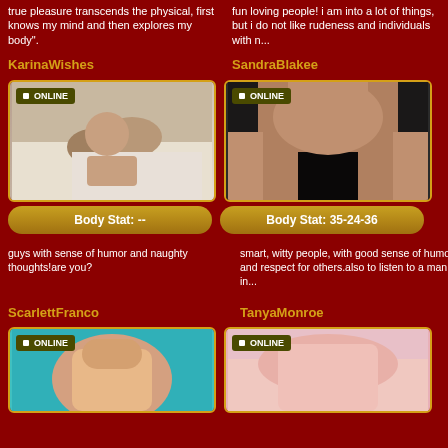true pleasure transcends the physical, first knows my mind and then explores my body".
fun loving people! i am into a lot of things, but i do not like rudeness and individuals with n...
KarinaWishes
[Figure (photo): Woman lying on bed, ONLINE badge]
Body Stat: --
guys with sense of humor and naughty thoughts!are you?
SandraBlakee
[Figure (photo): Close-up photo, ONLINE badge]
Body Stat: 35-24-36
smart, witty people, with good sense of humor and respect for others.also to listen to a man in...
ScarlettFranco
[Figure (photo): Woman in floral bikini, teal background, ONLINE badge]
TanyaMonroe
[Figure (photo): Woman in pink, ONLINE badge]